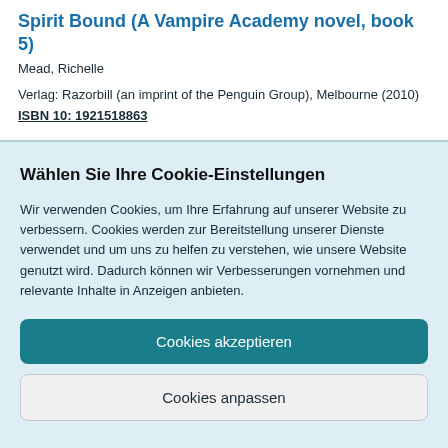Spirit Bound (A Vampire Academy novel, book 5)
Mead, Richelle
Verlag: Razorbill (an imprint of the Penguin Group), Melbourne (2010)
ISBN 10: 1921518863
Wählen Sie Ihre Cookie-Einstellungen
Wir verwenden Cookies, um Ihre Erfahrung auf unserer Website zu verbessern. Cookies werden zur Bereitstellung unserer Dienste verwendet und um uns zu helfen zu verstehen, wie unsere Website genutzt wird. Dadurch können wir Verbesserungen vornehmen und relevante Inhalte in Anzeigen anbieten.
Cookies akzeptieren
Cookies anpassen